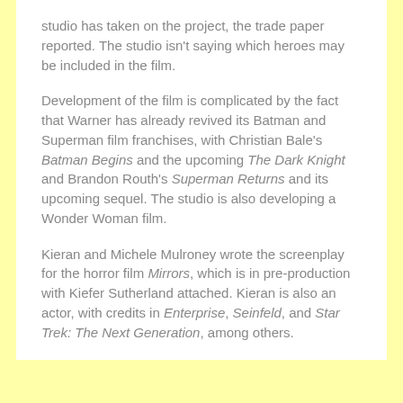studio has taken on the project, the trade paper reported. The studio isn't saying which heroes may be included in the film.
Development of the film is complicated by the fact that Warner has already revived its Batman and Superman film franchises, with Christian Bale's Batman Begins and the upcoming The Dark Knight and Brandon Routh's Superman Returns and its upcoming sequel. The studio is also developing a Wonder Woman film.
Kieran and Michele Mulroney wrote the screenplay for the horror film Mirrors, which is in pre-production with Kiefer Sutherland attached. Kieran is also an actor, with credits in Enterprise, Seinfeld, and Star Trek: The Next Generation, among others.